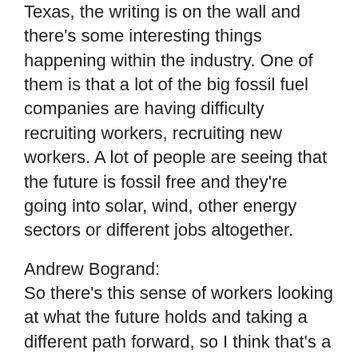Texas, the writing is on the wall and there's some interesting things happening within the industry. One of them is that a lot of the big fossil fuel companies are having difficulty recruiting workers, recruiting new workers. A lot of people are seeing that the future is fossil free and they're going into solar, wind, other energy sectors or different jobs altogether.
Andrew Bogrand:
So there's this sense of workers looking at what the future holds and taking a different path forward, so I think that's a big reality. But the other side to this is that we also can't let companies decide how the future